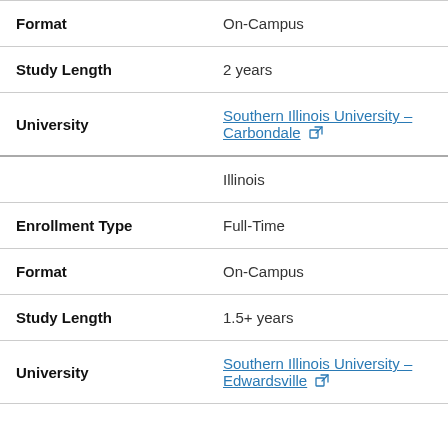| Format | On-Campus |
| Study Length | 2 years |
| University | Southern Illinois University – Carbondale [ext] |
|  | Illinois |
| Enrollment Type | Full-Time |
| Format | On-Campus |
| Study Length | 1.5+ years |
| University | Southern Illinois University – Edwardsville [ext] |